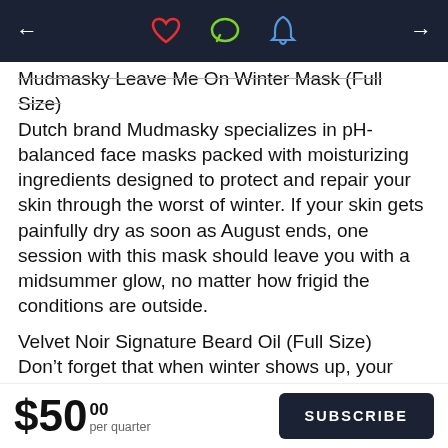← [heart icon] [chat icon] [bell icon] →
Mudmasky Leave Me On Winter Mask (Full Size) Dutch brand Mudmasky specializes in pH-balanced face masks packed with moisturizing ingredients designed to protect and repair your skin through the worst of winter. If your skin gets painfully dry as soon as August ends, one session with this mask should leave you with a midsummer glow, no matter how frigid the conditions are outside.
Velvet Noir Signature Beard Oil (Full Size) Don't forget that when winter shows up, your beard needs some extra attention, too. Velvet Noir's lightweight formula is engineered to promote growth and leave your facial hair feeling softer than ever—all
$50.00 per quarter  SUBSCRIBE